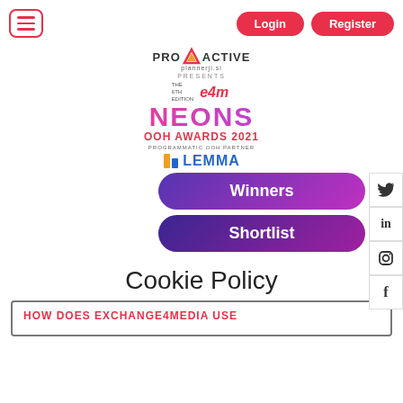Navigation header with hamburger menu, Login and Register buttons
[Figure (logo): ProActive Plannerji.si presents e4m NEONS OOH AWARDS 2021 with Lemma as Programmatic OOH Partner logo]
[Figure (other): Winners and Shortlist pill navigation buttons with purple-to-pink gradient. Social media icons sidebar (Twitter, LinkedIn, Instagram, Facebook).]
Cookie Policy
HOW DOES EXCHANGE4MEDIA USE